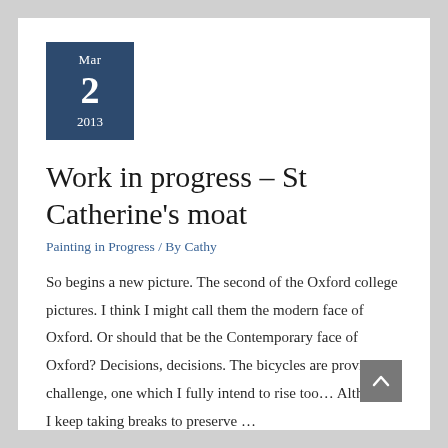Mar 2 2013
Work in progress – St Catherine's moat
Painting in Progress / By Cathy
So begins a new picture. The second of the Oxford college pictures. I think I might call them the modern face of Oxford. Or should that be the Contemporary face of Oxford? Decisions, decisions. The bicycles are proving a challenge, one which I fully intend to rise too… Although I keep taking breaks to preserve …
Read More »